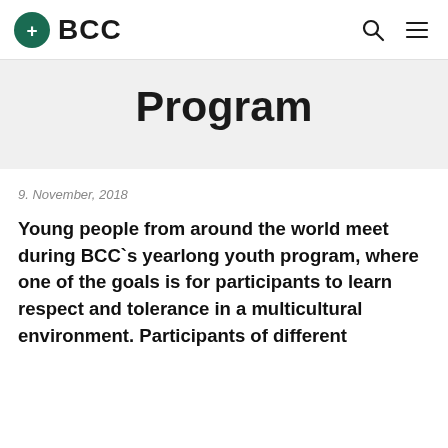BCC
Program
9. November, 2018
Young people from around the world meet during BCC`s yearlong youth program, where one of the goals is for participants to learn respect and tolerance in a multicultural environment. Participants of different